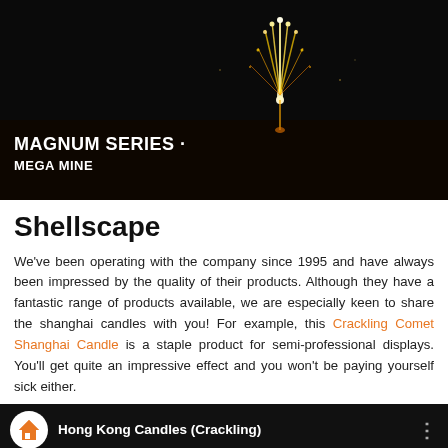[Figure (screenshot): Dark background image showing a firework/fountain sparkling effect at night with text overlay reading MAGNUM SERIES MEGA MINE]
Shellscape
We've been operating with the company since 1995 and have always been impressed by the quality of their products. Although they have a fantastic range of products available, we are especially keen to share the shanghai candles with you! For example, this Crackling Comet Shanghai Candle is a staple product for semi-professional displays. You'll get quite an impressive effect and you won't be paying yourself sick either.
[Figure (screenshot): Bottom of a video thumbnail showing EWC logo circle and text Hong Kong Candles (Crackling)]
MENU   SHOP   WISHLIST   SIGN IN